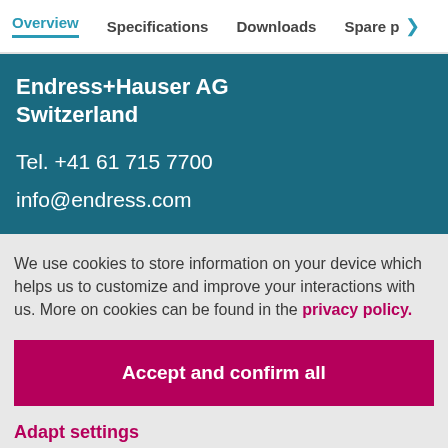Overview | Specifications | Downloads | Spare p >
Endress+Hauser AG
Switzerland

Tel. +41 61 715 7700

info@endress.com
We use cookies to store information on your device which helps us to customize and improve your interactions with us. More on cookies can be found in the privacy policy.
Accept and confirm all
Adapt settings